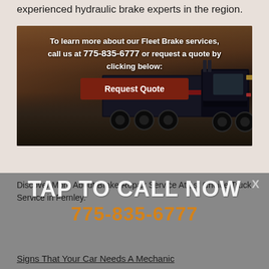experienced hydraulic brake experts in the region.
[Figure (infographic): Banner image with a semi-truck on a desert highway background with text overlay promoting Fleet Brake services and a Request Quote button]
TAP TO CALL NOW
775-835-6777
Discover More About Brake Repair Service At 1st Choice Truck Service in Fernley.
Signs That Your Car Needs A Mechanic